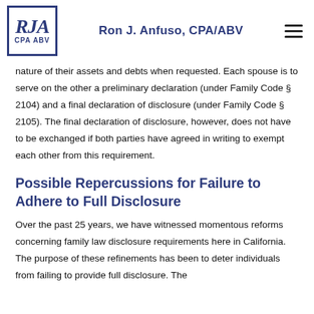Ron J. Anfuso, CPA/ABV
nature of their assets and debts when requested. Each spouse is to serve on the other a preliminary declaration (under Family Code § 2104) and a final declaration of disclosure (under Family Code § 2105). The final declaration of disclosure, however, does not have to be exchanged if both parties have agreed in writing to exempt each other from this requirement.
Possible Repercussions for Failure to Adhere to Full Disclosure
Over the past 25 years, we have witnessed momentous reforms concerning family law disclosure requirements here in California. The purpose of these refinements has been to deter individuals from failing to provide full disclosure. The